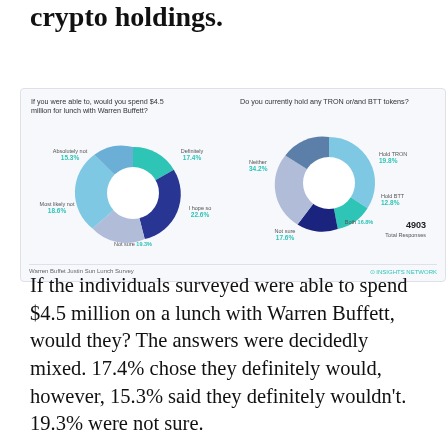crypto holdings.
[Figure (donut-chart): If you were able to, would you spend $4.5 million for lunch with Warren Buffett?]
[Figure (donut-chart): Do you currently hold any TRON or/and BTT tokens?]
Warren Buffet Justin Sun Lunch Survey — INSIGHTS NETWORK — 4903 Total Responses
If the individuals surveyed were able to spend $4.5 million on a lunch with Warren Buffett, would they? The answers were decidedly mixed. 17.4% chose they definitely would, however, 15.3% said they definitely wouldn't. 19.3% were not sure.